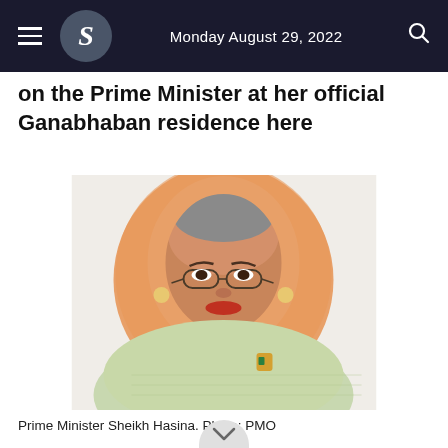Monday August 29, 2022
on the Prime Minister at her official Ganabhaban residence here
[Figure (photo): Portrait photo of Prime Minister Sheikh Hasina wearing a floral peach/green hijab and light green sari with pearl necklace and glasses]
Prime Minister Sheikh Hasina. Photo: PMO